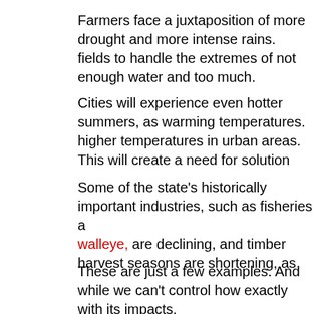Farmers face a juxtaposition of more drought and more intense rains. fields to handle the extremes of not enough water and too much.
Cities will experience even hotter summers, as warming temperatures higher temperatures in urban areas. This will create a need for solution
Some of the state's historically important industries, such as fisheries a walleye, are declining, and timber harvest seasons are shortening, as
These are just a few examples. And while we can't control how exactly with its impacts.
Such preparation will require solutions we already know can help, as w transformative thinking about what kind of future we want to create.
We know solutions are dependent on more than science. They require involves accepting value differences, tradeoffs and uncertainties about
To frame such discussions, we also need stories that inspire and motiv nonetheless, thrive.
Human societies are oriented around stories. The narratives we create which we are resilient will give us the navigational tools to chart a desi
Embracing a story that ignores or denies the reality of climate change
The Water Sustainability and Climate project at UW-Madison works t